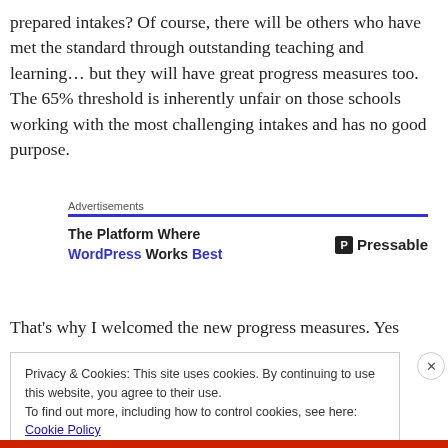prepared intakes? Of course, there will be others who have met the standard through outstanding teaching and learning… but they will have great progress measures too. The 65% threshold is inherently unfair on those schools working with the most challenging intakes and has no good purpose.
[Figure (other): Advertisements banner: 'The Platform Where WordPress Works Best' by Pressable, with a blue horizontal rule and Pressable logo.]
That's why I welcomed the new progress measures. Yes
Privacy & Cookies: This site uses cookies. By continuing to use this website, you agree to their use.
To find out more, including how to control cookies, see here: Cookie Policy